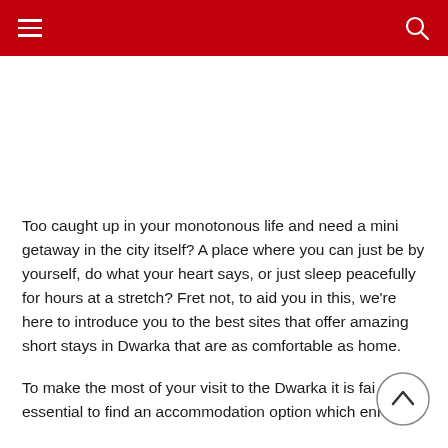≡  🔍
[Figure (other): White empty space placeholder / advertisement area]
Too caught up in your monotonous life and need a mini getaway in the city itself? A place where you can just be by yourself, do what your heart says, or just sleep peacefully for hours at a stretch? Fret not, to aid you in this, we're here to introduce you to the best sites that offer amazing short stays in Dwarka that are as comfortable as home.
To make the most of your visit to the Dwarka it is fairly essential to find an accommodation option which enriches